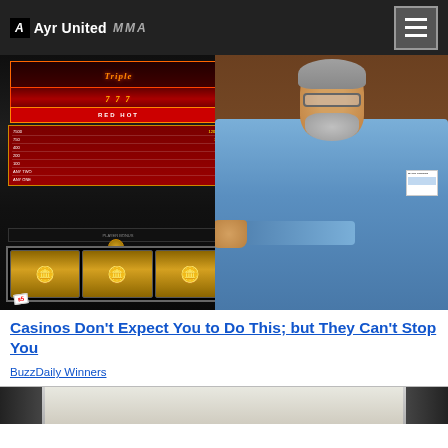Ayr United MMA
[Figure (photo): Man in blue shirt standing next to a Triple Seven Red Hot slot machine in a casino]
Casinos Don't Expect You to Do This; but They Can't Stop You
BuzzDaily Winners
[Figure (photo): Partial image of another person at bottom of page, cropped]